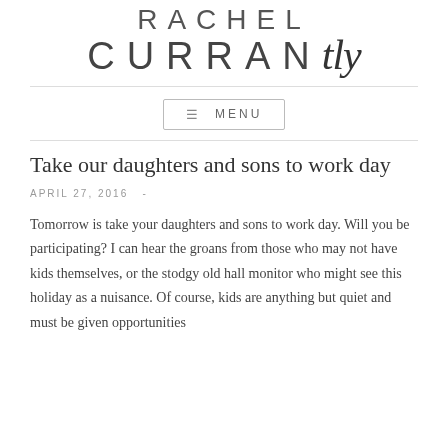[Figure (logo): Rachel CURRANtly blog logo — 'RACHEL' in thin spaced caps, 'CURRAN' in large thin spaced caps, 'tly' in italic script]
≡ MENU
Take our daughters and sons to work day
APRIL 27, 2016  -
Tomorrow is take your daughters and sons to work day. Will you be participating? I can hear the groans from those who may not have kids themselves, or the stodgy old hall monitor who might see this holiday as a nuisance. Of course, kids are anything but quiet and must be given opportunities